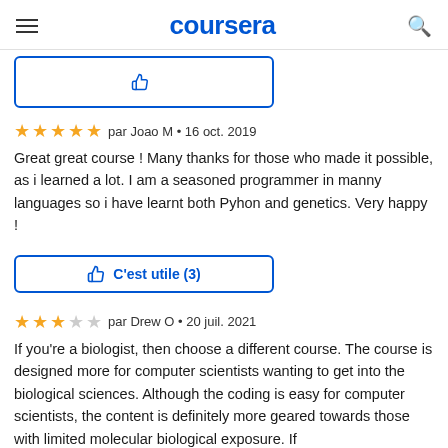coursera
[Figure (screenshot): Partially visible button at top of page (C'est utile button, cut off)]
par Joao M • 16 oct. 2019
Great great course ! Many thanks for those who made it possible, as i learned a lot. I am a seasoned programmer in manny languages so i have learnt both Pyhon and genetics. Very happy !
C'est utile (3)
par Drew O • 20 juil. 2021
If you're a biologist, then choose a different course. The course is designed more for computer scientists wanting to get into the biological sciences. Although the coding is easy for computer scientists, the content is definitely more geared towards those with limited molecular biological exposure. If